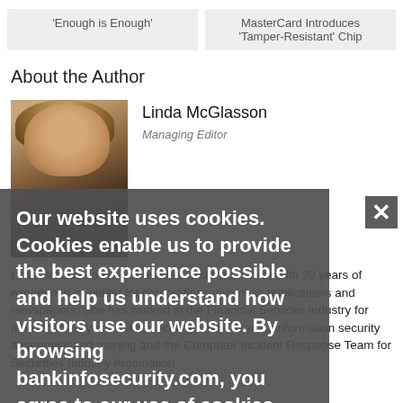'Enough is Enough'
MasterCard Introduces 'Tamper-Resistant' Chip
About the Author
[Figure (photo): Portrait photo of Linda McGlasson, a woman with blonde hair]
Linda McGlasson
Managing Editor
Linda McGlasson is a seasoned writer and editor with 20 years of experience in writing for corporations, business publications and newspapers. She has worked in the Financial Services industry for more than 12 years. Most recently Linda headed information security awareness and training and the Computer Incident Response Team for Securities Industry Automation
Our website uses cookies. Cookies enable us to provide the best experience possible and help us understand how visitors use our website. By browsing bankinfosecurity.com, you agree to our use of cookies.